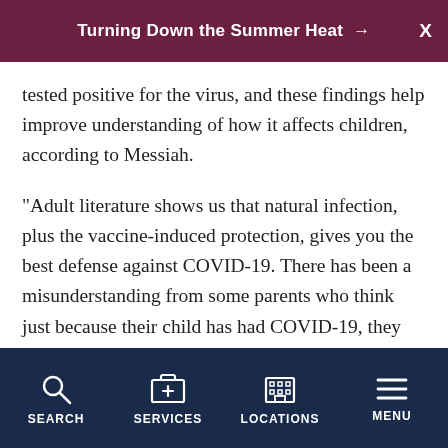Turning Down the Summer Heat →
tested positive for the virus, and these findings help improve understanding of how it affects children, according to Messiah.
"Adult literature shows us that natural infection, plus the vaccine-induced protection, gives you the best defense against COVID-19. There has been a misunderstanding from some parents who think just because their child has had COVID-19, they are now protected and don't need to get the vaccine," Messiah said.
"While our study is encouraging in that some amount
SEARCH  SERVICES  LOCATIONS  MENU